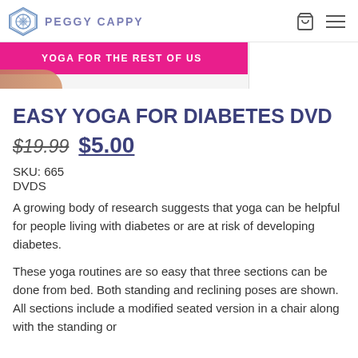PEGGY CAPPY
[Figure (photo): Banner with pink background reading YOGA FOR THE REST OF US with a hand/finger visible at the bottom left]
EASY YOGA FOR DIABETES DVD
$19.99 $5.00
SKU: 665
DVDS
A growing body of research suggests that yoga can be helpful for people living with diabetes or are at risk of developing diabetes.
These yoga routines are so easy that three sections can be done from bed. Both standing and reclining poses are shown. All sections include a modified seated version in a chair along with the standing or